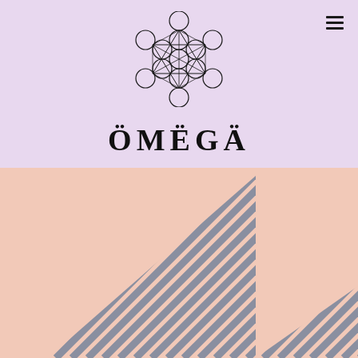[Figure (logo): Metatron's Cube sacred geometry logo — overlapping circles forming a geometric lattice with inner polyhedra]
ÖMËGÄ
[Figure (illustration): Peach/salmon background with diagonal stripe-patterned triangles in grey-blue — a large upward-pointing triangle on the left and a smaller flat triangle at the bottom right, partially visible]